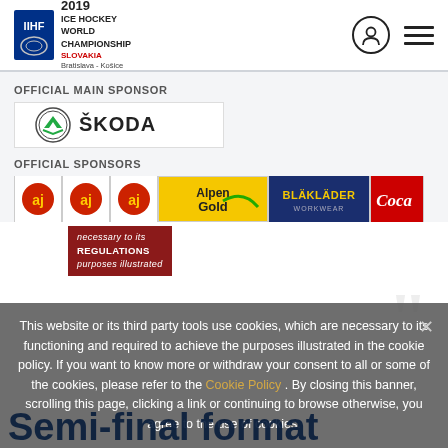2019 ICE HOCKEY WORLD CHAMPIONSHIP SLOVAKIA Bratislava - Košice
OFFICIAL MAIN SPONSOR
[Figure (logo): ŠKODA logo with green winged arrow emblem and bold ŠKODA text]
OFFICIAL SPONSORS
[Figure (logo): Row of sponsor logos: AJ Products (x3), Alpen Gold, Blaklader, Coca-Cola]
This website or its third party tools use cookies, which are necessary to its functioning and required to achieve the purposes illustrated in the cookie policy. If you want to know more or withdraw your consent to all or some of the cookies, please refer to the Cookie Policy . By closing this banner, scrolling this page, clicking a link or continuing to browse otherwise, you agree to the use of cookies.
Semi-final format